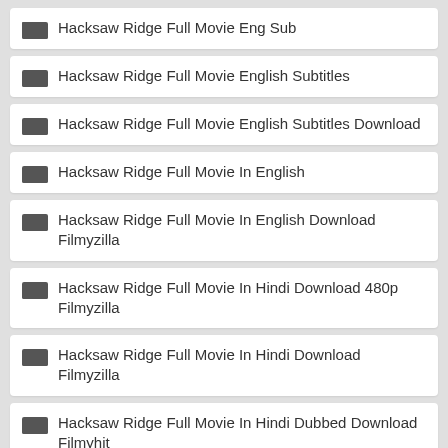Hacksaw Ridge Full Movie Eng Sub
Hacksaw Ridge Full Movie English Subtitles
Hacksaw Ridge Full Movie English Subtitles Download
Hacksaw Ridge Full Movie In English
Hacksaw Ridge Full Movie In English Download Filmyzilla
Hacksaw Ridge Full Movie In Hindi Download 480p Filmyzilla
Hacksaw Ridge Full Movie In Hindi Download Filmyzilla
Hacksaw Ridge Full Movie In Hindi Dubbed Download Filmyhit
Hacksaw Ridge Full Movie In Hindi Dubbed Download Filmyzilla
Hacksaw Ridge Full Movie In Hindi Free Download 300mb Khatrimaza
Hacksaw Ridge Full Movie Watch Online Dailymotion